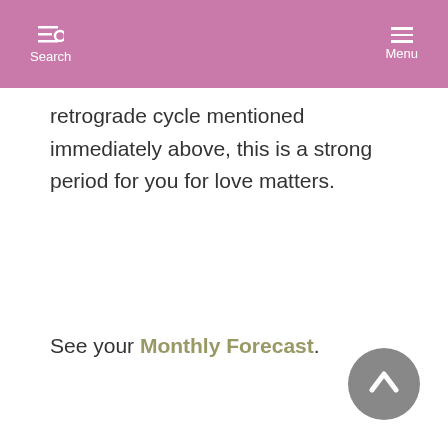Search  Menu
retrograde cycle mentioned immediately above, this is a strong period for you for love matters.
See your Monthly Forecast.